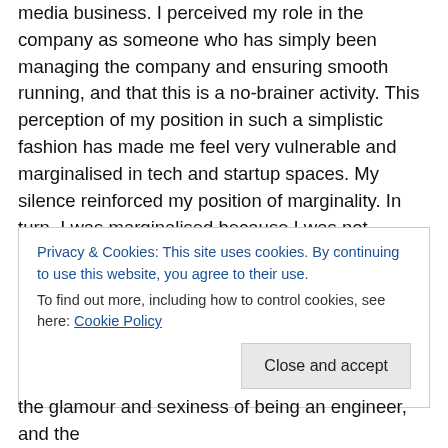media business. I perceived my role in the company as someone who has simply been managing the company and ensuring smooth running, and that this is a no-brainer activity. This perception of my position in such a simplistic fashion has made me feel very vulnerable and marginalised in tech and startup spaces. My silence reinforced my position of marginality. In turn, I was marginalised because I was not speaking up. Clearly, I was doing disservice to myself.
In the past few months, I have started pulling myself up and asking why I have been behaving like a victim in this
Privacy & Cookies: This site uses cookies. By continuing to use this website, you agree to their use.
To find out more, including how to control cookies, see here: Cookie Policy
the glamour and sexiness of being an engineer, and the